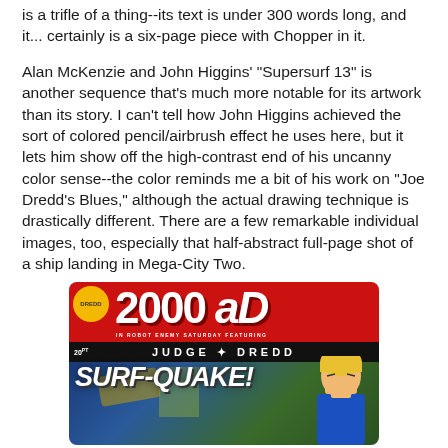is a trifle of a thing--its text is under 300 words long, and it... certainly is a six-page piece with Chopper in it.
Alan McKenzie and John Higgins' "Supersurf 13" is another sequence that's much more notable for its artwork than its story. I can't tell how John Higgins achieved the sort of colored pencil/airbrush effect he uses here, but it lets him show off the high-contrast end of his uncanny color sense--the color reminds me a bit of his work on "Joe Dredd's Blues," although the actual drawing technique is drastically different. There are a few remarkable individual images, too, especially that half-abstract full-page shot of a ship landing in Mega-City Two.
[Figure (photo): Cover of 2000 AD comic featuring Judge Dredd. Red banner with large '2000 AD' logo in white. Black bar reading 'JUDGE DREDD' below. Scene with 'SURF-QUAKE!' title text over a blue/green action scene with a blond character.]